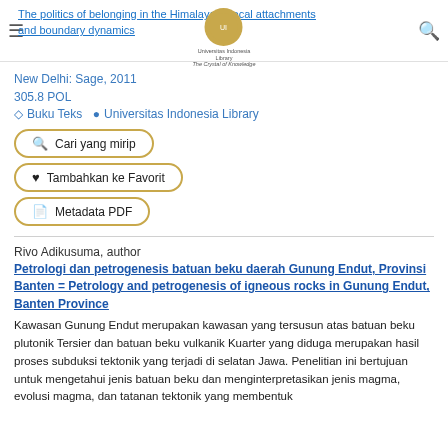The politics of belonging in the Himalayas : local attachments and boundary dynamics
New Delhi: Sage, 2011
305.8 POL
⊞ Buku Teks ⦿ Universitas Indonesia Library
Cari yang mirip
Tambahkan ke Favorit
Metadata PDF
Rivo Adikusuma, author
Petrologi dan petrogenesis batuan beku daerah Gunung Endut, Provinsi Banten = Petrology and petrogenesis of igneous rocks in Gunung Endut, Banten Province
Kawasan Gunung Endut merupakan kawasan yang tersusun atas batuan beku plutonik Tersier dan batuan beku vulkanik Kuarter yang diduga merupakan hasil proses subduksi tektonik yang terjadi di selatan Jawa. Penelitian ini bertujuan untuk mengetahui jenis batuan beku dan menginterpretasikan jenis magma, evolusi magma, dan tatanan tektonik yang membentuk